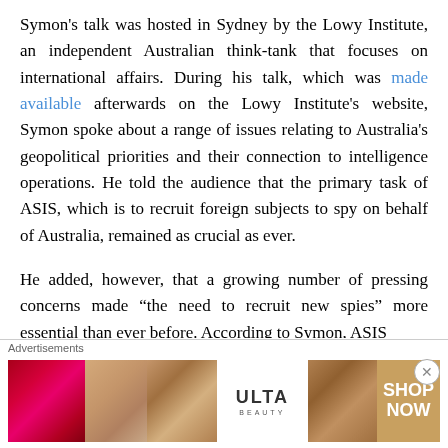Symon's talk was hosted in Sydney by the Lowy Institute, an independent Australian think-tank that focuses on international affairs. During his talk, which was made available afterwards on the Lowy Institute's website, Symon spoke about a range of issues relating to Australia's geopolitical priorities and their connection to intelligence operations. He told the audience that the primary task of ASIS, which is to recruit foreign subjects to spy on behalf of Australia, remained as crucial as ever.
He added, however, that a growing number of pressing concerns made “the need to recruit new spies” more essential than ever before. According to Symon, ASIS [text continues below]
Advertisements
[Figure (photo): Ulta Beauty advertisement banner showing cosmetics imagery including lips with red lipstick, makeup brush, eye makeup, Ulta Beauty logo, and eye close-up, with SHOP NOW call to action]